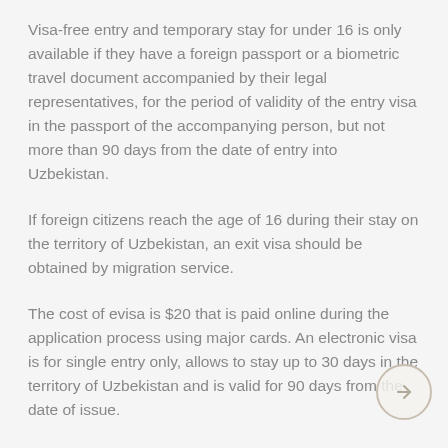Visa-free entry and temporary stay for under 16 is only available if they have a foreign passport or a biometric travel document accompanied by their legal representatives, for the period of validity of the entry visa in the passport of the accompanying person, but not more than 90 days from the date of entry into Uzbekistan.
If foreign citizens reach the age of 16 during their stay on the territory of Uzbekistan, an exit visa should be obtained by migration service.
The cost of evisa is $20 that is paid online during the application process using major cards. An electronic visa is for single entry only, allows to stay up to 30 days in the territory of Uzbekistan and is valid for 90 days from the date of issue.
To apply for a visa, you need to apply at least three working days before the planned date of travel to Uzbekistan. The visa application is processed within two working days not counting the